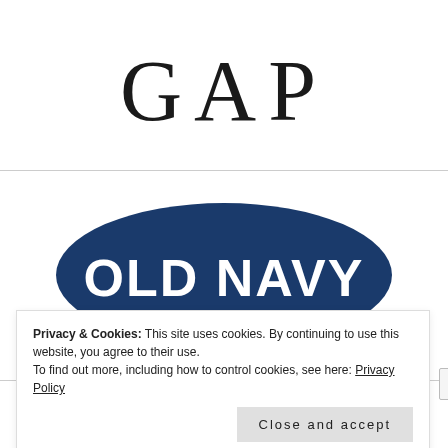[Figure (logo): GAP logo in large serif font with wide letter-spacing]
[Figure (logo): Old Navy logo: white bold text on a dark navy blue oval/ellipse shape]
Privacy & Cookies: This site uses cookies. By continuing to use this website, you agree to their use.
To find out more, including how to control cookies, see here: Privacy Policy
Close and accept